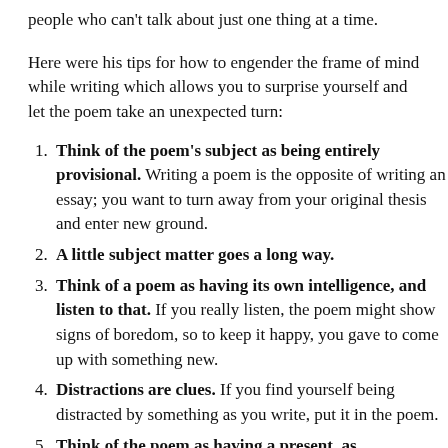people who can't talk about just one thing at a time.
Here were his tips for how to engender the frame of mind while writing which allows you to surprise yourself and let the poem take an unexpected turn:
Think of the poem's subject as being entirely provisional. Writing a poem is the opposite of writing an essay; you want to turn away from your original thesis and enter new ground.
A little subject matter goes a long way.
Think of a poem as having its own intelligence, and listen to that. If you really listen, the poem might show signs of boredom, so to keep it happy, you gave to come up with something new.
Distractions are clues. If you find yourself being distracted by something as you write, put it in the poem.
Think of the poem as having a present, as